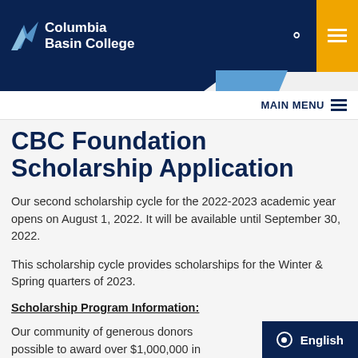Columbia Basin College
CBC Foundation Scholarship Application
Our second scholarship cycle for the 2022-2023 academic year opens on August 1, 2022. It will be available until September 30, 2022.
This scholarship cycle provides scholarships for the Winter & Spring quarters of 2023.
Scholarship Program Information:
Our community of generous donors possible to award over $1,000,000 in